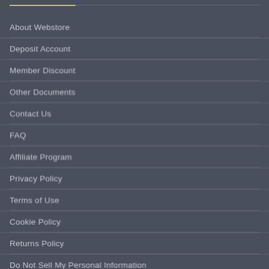About Webstore
Deposit Account
Member Discount
Other Documents
Contact Us
FAQ
Affiliate Program
Privacy Policy
Terms of Use
Cookie Policy
Returns Policy
Do Not Sell My Personal Information